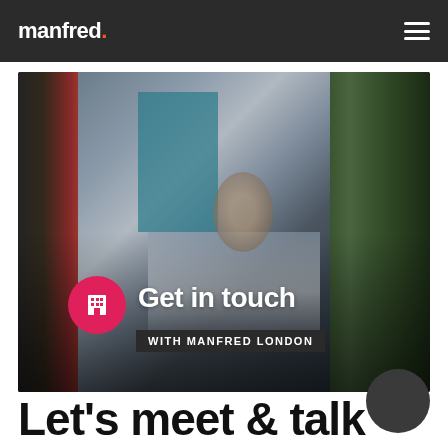manfred.
[Figure (photo): Blurred office interior photo with a person in a red jacket on the left, office desks with computers in the center, a woman visible in the middle, and green plants on the right. Overlaid with 'Get in touch' heading and 'WITH MANFRED LONDON' subtitle banner with a pink building icon.]
Let's meet & talk